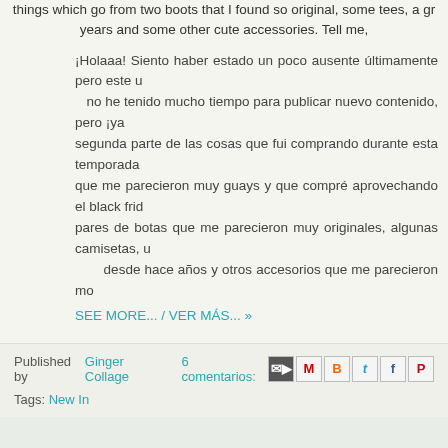things which go from two boots that I found so original, some tees, a gr... years and some other cute accessories. Tell me,
¡Holaaa! Siento haber estado un poco ausente últimamente pero este u... no he tenido mucho tiempo para publicar nuevo contenido, pero ¡ya... segunda parte de las cosas que fui comprando durante esta temporada... que me parecieron muy guays y que compré aprovechando el black frid... pares de botas que me parecieron muy originales, algunas camisetas, u... desde hace años y otros accesorios que me parecieron mo...
SEE MORE... / VER MÁS... »
Published by Ginger Collage   6 comentarios:
Tags: New In
Entradas más recientes
Inicio
Suscribirse a: Entradas (Atom)